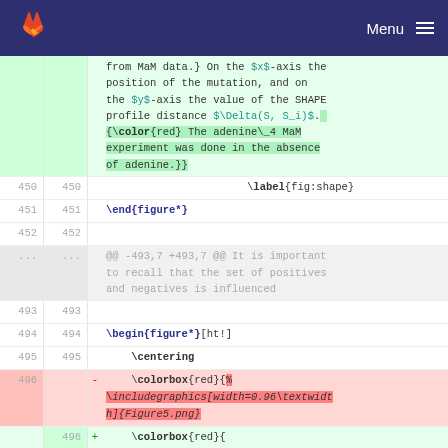GitLab — Menu
from MaM data.} On the $x$-axis the position of the mutation, and on the $y$-axis the value of the SHAPE profile distance $\Delta(S, S_i)$. {\color{red} The adenine\_4 MaM experiment was done in the absence of adenine.}}
450  450      \label{fig:shape}
451  451  \end{figure*}
452  452
...  ...  @@ -493,7 +493,7 @@ It is important to recall that the set of positives and negatives is influenced
493  493
494  494  \begin{figure*}[ht!]
495  495      \centering
496  -  \colorbox{red}{%
\includegraphics[width=0.96\textwidth]{Figure5.png}
496  +  \colorbox{red}{